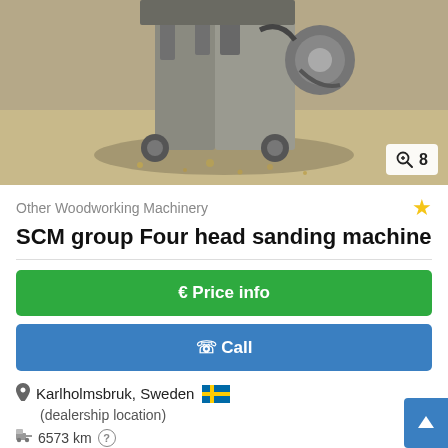[Figure (photo): Industrial woodworking sanding machine photographed in a workshop setting, showing mechanical components with sawdust on the floor. Badge showing zoom icon and number 8 in lower right corner.]
Other Woodworking Machinery
SCM group Four head sanding machine
€ Price info
✆ Call
Karlholmsbruk, Sweden
(dealership location)
6573 km
1998
Save search query
used